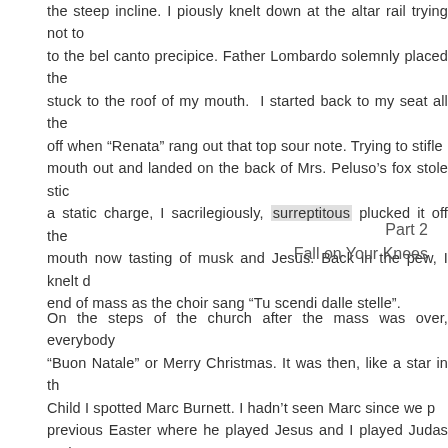the steep incline. I piously knelt down at the altar rail trying not to the bel canto precipice. Father Lombardo solemnly placed the stuck to the roof of my mouth. I started back to my seat all the off when “Renata” rang out that top sour note. Trying to stifle mouth out and landed on the back of Mrs. Peluso’s fox stole stic a static charge, I sacrilegiously, surreptitous plucked it off the mouth now tasting of musk and Jesus. Back in the pew, I knelt d end of mass as the choir sang “Tu scendi dalle stelle”.
Part 2
Fall on Your Knees
On the steps of the church after the mass was over, everybody “Buon Natale” or Merry Christmas. It was then, like a star in th Child I spotted Marc Burnett. I hadn’t seen Marc since we p previous Easter where he played Jesus and I played Judas and I went over and gave Marc a seasonal warm hug and said hello leaving to go to her mother’s house to spend the evening and come over to his place for some hot chocolate. I gingerly asked house for awhile. He would drive me home when we were done